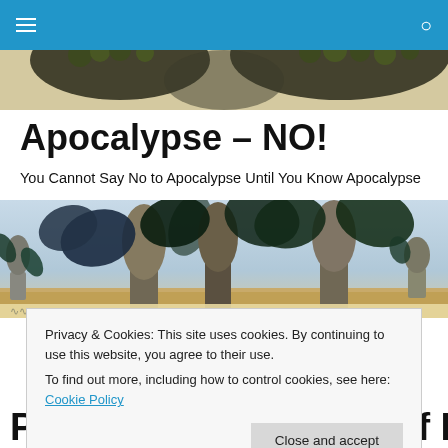Apocalypse – NO! (navigation bar)
[Figure (illustration): Partial view of a decorative banner image showing dark organic/floral patterns on a light background, partially cropped at the top.]
Apocalypse – NO!
You Cannot Say No to Apocalypse Until You Know Apocalypse
[Figure (illustration): Surrealist painting showing fantastical windmill-like structures with large butterfly wings in a desert landscape with figures. A decorative script border appears at the bottom.]
Privacy & Cookies: This site uses cookies. By continuing to use this website, you agree to their use.
To find out more, including how to control cookies, see here: Cookie Policy
Close and accept
Pollution: Blueprints of Human